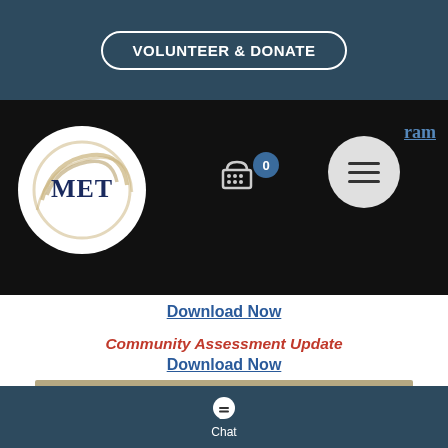VOLUNTEER & DONATE
[Figure (logo): MET organization logo — circular white background with gold concentric arc swirls and dark blue MET text in serif font]
[Figure (screenshot): Navigation bar with shopping cart icon showing badge '0', hamburger menu button (three lines), and partial link text 'ram' (program)]
Download Now
Community Assessment Update
Download Now
EDUCATION
Head Start programs promote
Chat